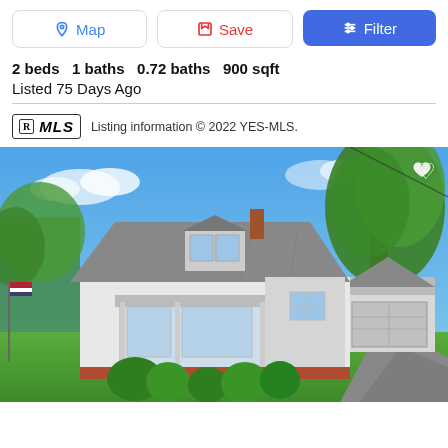Map | Save | Filter
2 beds  1 baths  0.72 baths  900 sqft
Listed 75 Days Ago
Listing information © 2022 YES-MLS.
[Figure (photo): Exterior photo of a white Cape Cod style house with a screened porch, surrounded by green lawn and trees, with a detached garage visible on the right and a driveway. Blue sky background.]